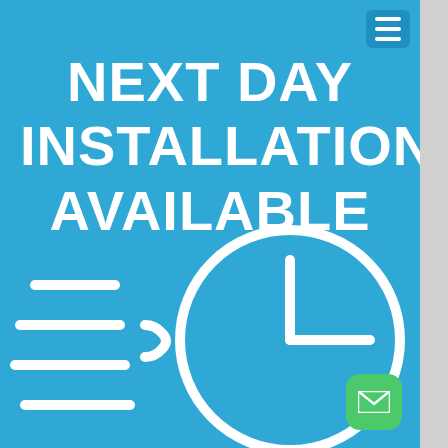NEXT DAY INSTALLATION AVAILABLE
[Figure (illustration): White icon of a clock with speed lines suggesting fast/next-day delivery or installation, on a blue background. The clock shows approximately 12:15 with motion lines to the left.]